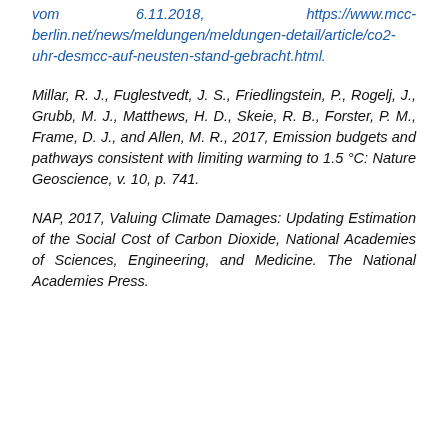vom 6.11.2018, https://www.mcc-berlin.net/news/meldungen/meldungen-detail/article/co2-uhr-desmcc-auf-neusten-stand-gebracht.html.
Millar, R. J., Fuglestvedt, J. S., Friedlingstein, P., Rogelj, J., Grubb, M. J., Matthews, H. D., Skeie, R. B., Forster, P. M., Frame, D. J., and Allen, M. R., 2017, Emission budgets and pathways consistent with limiting warming to 1.5 °C: Nature Geoscience, v. 10, p. 741.
NAP, 2017, Valuing Climate Damages: Updating Estimation of the Social Cost of Carbon Dioxide, National Academies of Sciences, Engineering, and Medicine. The National Academies Press.